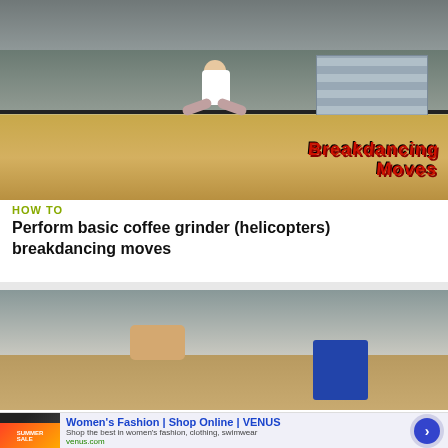[Figure (photo): Person performing a breakdancing coffee grinder/helicopter move on a gym floor, with stacked mats in background and 'Breakdancing' text overlay in red]
HOW TO
Perform basic coffee grinder (helicopters) breakdancing moves
[Figure (photo): People in a dance studio practicing breakdancing moves on the floor, with blue bag and equipment in background]
Women's Fashion | Shop Online | VENUS
Shop the best in women's fashion, clothing, swimwear
venus.com